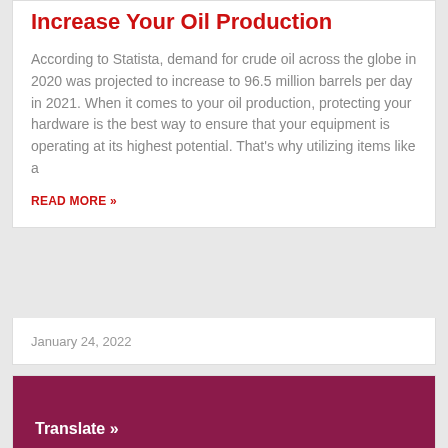Increase Your Oil Production
According to Statista, demand for crude oil across the globe in 2020 was projected to increase to 96.5 million barrels per day in 2021. When it comes to your oil production, protecting your hardware is the best way to ensure that your equipment is operating at its highest potential. That's why utilizing items like a
READ MORE »
January 24, 2022
Translate »